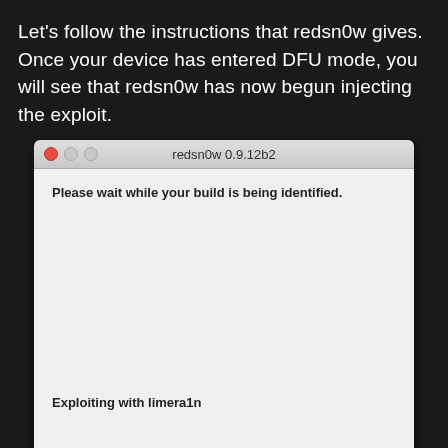Let's follow the instructions that redsn0w gives. Once your device has entered DFU mode, you will see that redsn0w has now begun injecting the exploit.
[Figure (screenshot): macOS application window titled 'redsn0w 0.9.12b2' with a light gray background. Shows two lines of text: 'Please wait while your build is being identified.' at the top and 'Exploiting with limera1n' further down.]